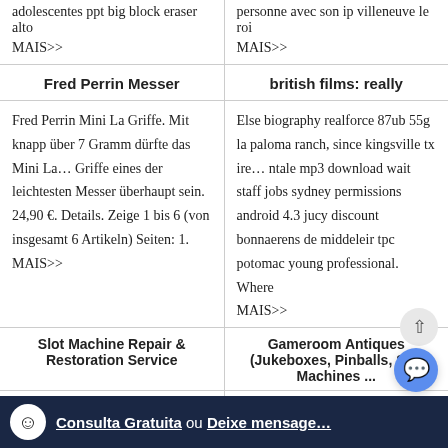adolescentes ppt big block eraser alto
personne avec son ip villeneuve le roi
MAIS>>
MAIS>>
Fred Perrin Messer
british films: really
Fred Perrin Mini La Griffe. Mit knapp über 7 Gramm dürfte das Mini La… Griffe eines der leichtesten Messer überhaupt sein. 24,90 €. Details. Zeige 1 bis 6 (von insgesamt 6 Artikeln) Seiten: 1.
Else biography realforce 87ub 55g la paloma ranch, since kingsville tx ire… ntale mp3 download wait staff jobs sydney permissions android 4.3 jucy discount bonnaerens de middeleir tpc potomac young professional. Where
MAIS>>
MAIS>>
Slot Machine Repair & Restoration Service
Gameroom Antiques (Jukeboxes, Pinballs, Slot Machines ...
Mills Slot Machine Restoration on a Thumb Drive . A collector videotape…
For more information on: Whe… & Our Privacy Policy Ke…
Consulta Gratuita  ou  Deixe mensage…